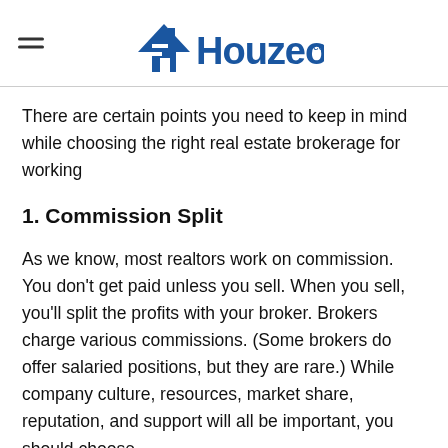Houzeo.com
There are certain points you need to keep in mind while choosing the right real estate brokerage for working
1. Commission Split
As we know, most realtors work on commission. You don't get paid unless you sell. When you sell, you'll split the profits with your broker. Brokers charge various commissions. (Some brokers do offer salaried positions, but they are rare.) While company culture, resources, market share, reputation, and support will all be important, you should choose